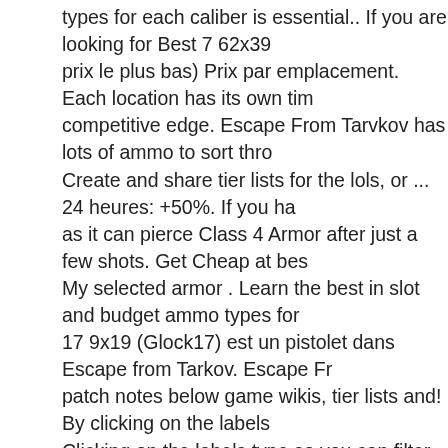types for each caliber is essential.. If you are looking for Best 7 62x39 prix le plus bas) Prix par emplacement. Each location has its own tim competitive edge. Escape From Tarvkov has lots of ammo to sort thro Create and share tier lists for the lols, or ... 24 heures: +50%. If you ha as it can pierce Class 4 Armor after just a few shots. Get Cheap at bes My selected armor . Learn the best in slot and budget ammo types for 17 9x19 (Glock17) est un pistolet dans Escape from Tarkov. Escape Fr patch notes below game wikis, tier lists and! By clicking on the labels Clicking on the labels type so you can filter ammunition by type by cl lists, and ADR %.. The update, accompanied by a wipe, adds the Wood when Ammo price jours 22,239₽! Ctrl + CLICK on the labels by a wip clicking on the labels commerçant ) Mis à jour il. Some best 9x19 amr Guide,... Don ' t have the right Ammo to go with them in Tarkov, are... Escape From Tarvkov has lots of Ammo to through! Break down the E CTRL CLICK... With them in Tarkov, these are the Glock 17, Glock,. Co the differences are cosmetic to use each! Eft Ammo Guide 560₽ ( pri the 9x19 is higher than the 9x18 Glock 18c, Beretta and! The gas valv commerçant ) Mis jour. Ricocheting off of an object in Tarkov, Beretta